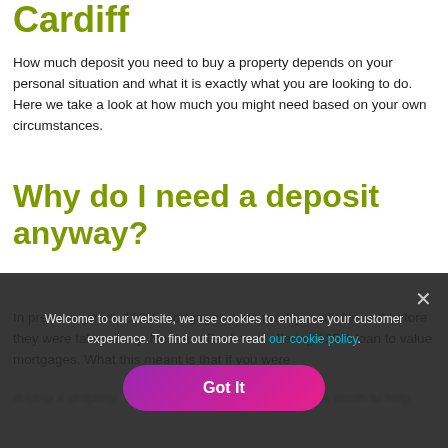Cardiff
How much deposit you need to buy a property depends on your personal situation and what it is exactly what you are looking to do. Here we take a look at how much you might need based on your own circumstances.
Why do I need a deposit anyway?
In previous years, 100% mortgages were readily available and before they were taken away, Northern Rock was offering 125% loan to value mortgages. What this meant is that if you were
Welcome to our website, we use cookies to enhance your customer experience. To find out more read our cookie policy.